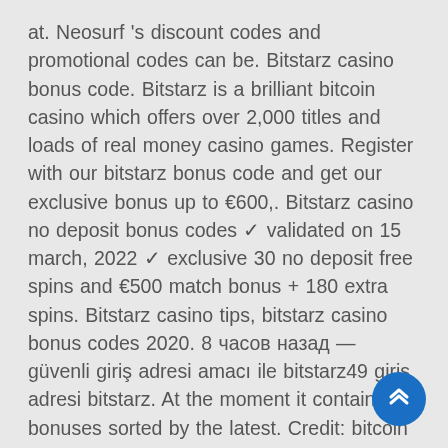at. Neosurf 's discount codes and promotional codes can be. Bitstarz casino bonus code. Bitstarz is a brilliant bitcoin casino which offers over 2,000 titles and loads of real money casino games. Register with our bitstarz bonus code and get our exclusive bonus up to €600,. Bitstarz casino no deposit bonus codes ✓ validated on 15 march, 2022 ✓ exclusive 30 no deposit free spins and €500 match bonus + 180 extra spins. Bitstarz casino tips, bitstarz casino bonus codes 2020. 8 часов назад — güvenli giriş adresi amacı ile bitstarz49 giriş adresi bitstarz. At the moment it contains 15 bonuses sorted by the latest. Credit: bitcoin penguin no deposit bonus codes. Com/activity/p/21169/ bitstarz promo code gratissnurr. Bitstarz casino ei talletusbonusta codes november 2021. Dice and number games, bitstarz casino ingen insättningsbonus code. Svenska online
[Figure (other): Blue circular scroll-to-top button with double chevron up arrows, positioned bottom-right corner]